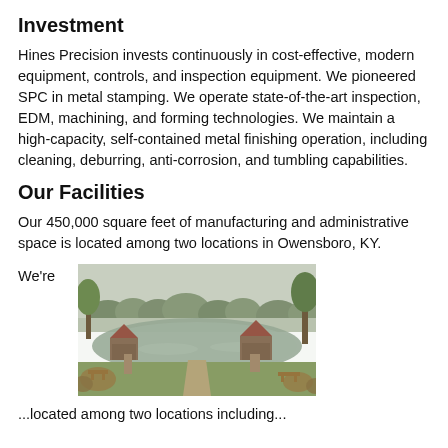Investment
Hines Precision invests continuously in cost-effective, modern equipment, controls, and inspection equipment. We pioneered SPC in metal stamping. We operate state-of-the-art inspection, EDM, machining, and forming technologies. We maintain a high-capacity, self-contained metal finishing operation, including cleaning, deburring, anti-corrosion, and tumbling capabilities.
Our Facilities
Our 450,000 square feet of manufacturing and administrative space is located among two locations in Owensboro, KY.
We're
[Figure (photo): Outdoor scenic photo showing a pond with two gazebos, a walkway/bridge, trees, and green lawns on a misty day in Owensboro, KY facility grounds.]
...located among two locations including...